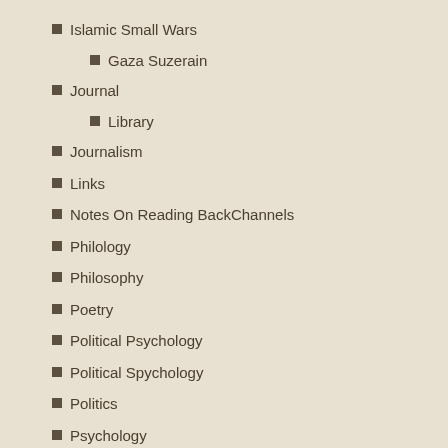Islamic Small Wars
Gaza Suzerain
Journal
Library
Journalism
Links
Notes On Reading BackChannels
Philology
Philosophy
Poetry
Political Psychology
Political Spychology
Politics
Psychology
Facsimile Bipolar Political Sociopathy